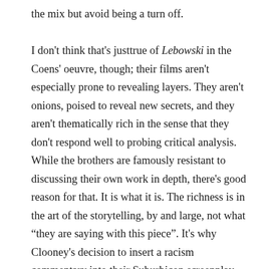the mix but avoid being a turn off.

I don't think that's justtrue of Lebowski in the Coens' oeuvre, though; their films aren't especially prone to revealing layers. They aren't onions, poised to reveal new secrets, and they aren't thematically rich in the sense that they don't respond well to probing critical analysis. While the brothers are famously resistant to discussing their own work in depth, there's good reason for that. It is what it is. The richness is in the art of the storytelling, by and large, not what “they are saying with this piece”. It's why Clooney's decision to insert a racism commentary into their Suburbicon screenplay was dunderheaded; it's exactly at odds with the way they approach material. You'll never hear them announcing what they wanted to say with a piece, and I don't think they remotely think about their